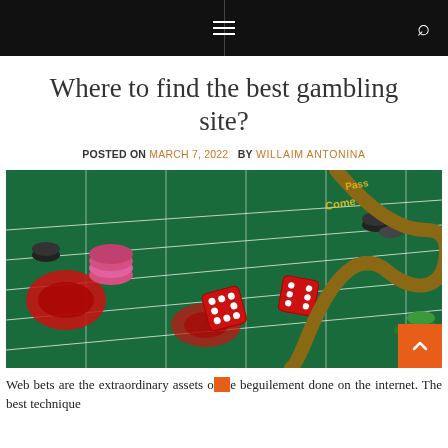≡  🔍
Where to find the best gambling site?
POSTED ON MARCH 7, 2022  BY WILLAIM ANTONINA
[Figure (photo): Craps table with red dice, poker chips, and a croupier stick on green felt casino table]
Web bets are the extraordinary assets of the beguilement done on the internet. The best technique